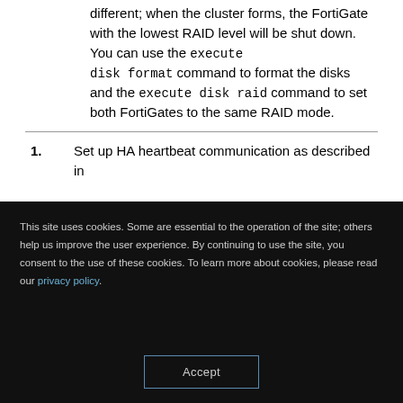different; when the cluster forms, the FortiGate with the lowest RAID level will be shut down. You can use the execute disk format command to format the disks and the execute disk raid command to set both FortiGates to the same RAID mode.
1. Set up HA heartbeat communication as described in
This site uses cookies. Some are essential to the operation of the site; others help us improve the user experience. By continuing to use the site, you consent to the use of these cookies. To learn more about cookies, please read our privacy policy.